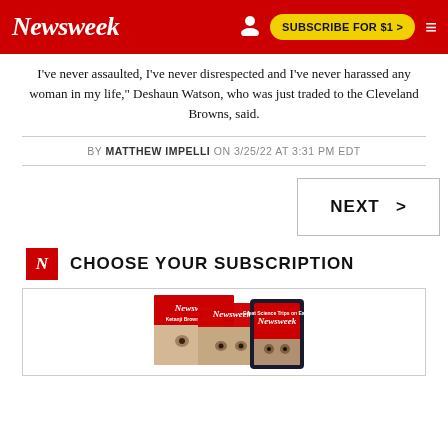Newsweek | SUBSCRIBE FOR $1 >
I've never assaulted, I've never disrespected and I've never harassed any woman in my life," Deshaun Watson, who was just traded to the Cleveland Browns, said.
BY MATTHEW IMPELLI ON 3/25/22 AT 3:31 PM EDT
NEXT >
CHOOSE YOUR SUBSCRIPTION
[Figure (photo): Stack of Newsweek magazine covers and a tablet showing Newsweek]